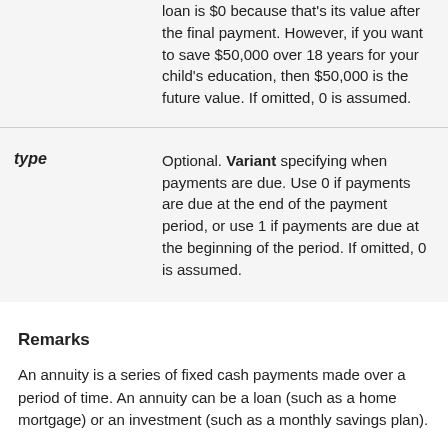| Parameter | Description |
| --- | --- |
|  | loan is $0 because that's its value after the final payment. However, if you want to save $50,000 over 18 years for your child's education, then $50,000 is the future value. If omitted, 0 is assumed. |
| type | Optional. Variant specifying when payments are due. Use 0 if payments are due at the end of the payment period, or use 1 if payments are due at the beginning of the period. If omitted, 0 is assumed. |
Remarks
An annuity is a series of fixed cash payments made over a period of time. An annuity can be a loan (such as a home mortgage) or an investment (such as a monthly savings plan).
For all arguments, cash paid out (such as deposits to savings) is represented by negative numbers; cash received (such as dividend checks) is represented by positive numbers.